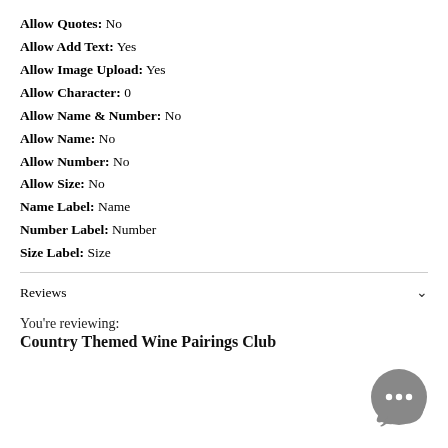Allow Quotes: No
Allow Add Text: Yes
Allow Image Upload: Yes
Allow Character: 0
Allow Name & Number: No
Allow Name: No
Allow Number: No
Allow Size: No
Name Label: Name
Number Label: Number
Size Label: Size
Reviews
You're reviewing:
Country Themed Wine Pairings Club